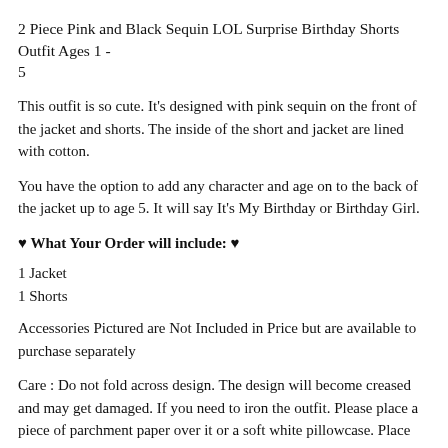2 Piece Pink and Black Sequin LOL Surprise Birthday Shorts Outfit Ages 1 - 5
This outfit is so cute. It's designed with pink sequin on the front of the jacket and shorts. The inside of the short and jacket are lined with cotton.
You have the option to add any character and age on to the back of the jacket up to age 5. It will say It's My Birthday or Birthday Girl.
♥ What Your Order will include: ♥
1 Jacket
1 Shorts
Accessories Pictured are Not Included in Price but are available to purchase separately
Care : Do not fold across design. The design will become creased and may get damaged. If you need to iron the outfit. Please place a piece of parchment paper over it or a soft white pillowcase. Place the iron on Polyester and iron over the item you place over it. Then allow the design to cool and remove item from over it slowly.
♥♥♥♥♥♥
Shipping:
This item will be shipped using USPS first class services. Order will take 3